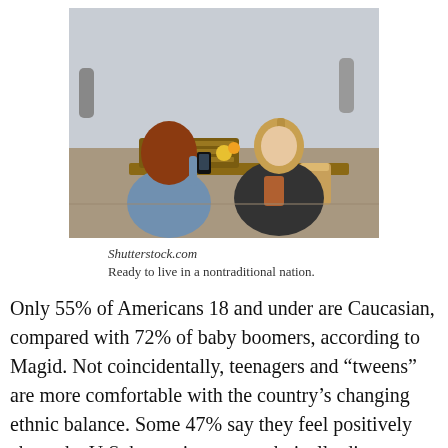[Figure (photo): Two young women sitting at an outdoor cafe table. One woman with red hair holds up a smartphone to take a photo; the other woman with blonde hair in a ponytail holds a drink cup and poses.]
Shutterstock.com
Ready to live in a nontraditional nation.
Only 55% of Americans 18 and under are Caucasian, compared with 72% of baby boomers, according to Magid. Not coincidentally, teenagers and “tweens” are more comfortable with the country’s changing ethnic balance. Some 47% say they feel positively about the U.S. becoming more ethnically diverse, compared with 32% of